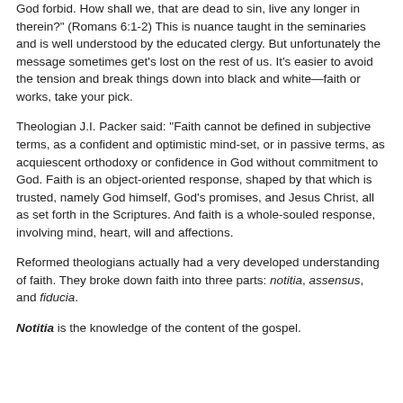God forbid. How shall we, that are dead to sin, live any longer in therein?" (Romans 6:1-2)  This is nuance taught in the seminaries and is well understood by the educated clergy.  But unfortunately the message sometimes get's lost on the rest of us.  It's easier to avoid the tension and break things down into black and white—faith or works, take your pick.
Theologian J.I. Packer said: “Faith cannot be defined in subjective terms, as a confident and optimistic mind-set, or in passive terms, as acquiescent orthodoxy or confidence in God without commitment to God.  Faith is an object-oriented response, shaped by that which is trusted, namely God himself, God's promises, and Jesus Christ, all as set forth in the Scriptures.  And faith is a whole-souled response, involving mind, heart, will and affections.
Reformed theologians actually had a very developed understanding of faith.  They broke down faith into three parts: notitia, assensus, and fiducia.
Notitia is the knowledge of the content of the gospel.